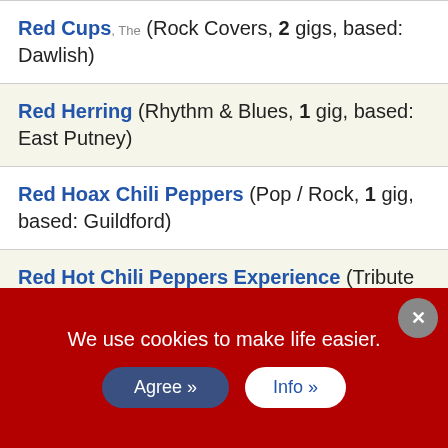Red Cups, The (Rock Covers, 2 gigs, based: Dawlish)
Red Herring (Rhythm & Blues, 1 gig, based: East Putney)
Red Hoax Chili Peppers (Pop / Rock, 1 gig, based: Guildford)
Red Hot Chili Peppers Experience (Tribute Band, 1 gig, based: Oxford)
Red Strokes (Country Rock, 15 gigs, based: Patton)
We use cookies to make life easier.